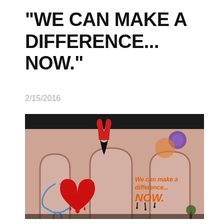"WE CAN MAKE A DIFFERENCE... NOW."
2/15/2016
[Figure (photo): Street art / graffiti mural on a weathered pink wall featuring arched doorways. Central elements include a large red heart with a stethoscope, two praying hands in red, a purple sun, and orange graffiti text reading 'We can make a difference... NOW.']